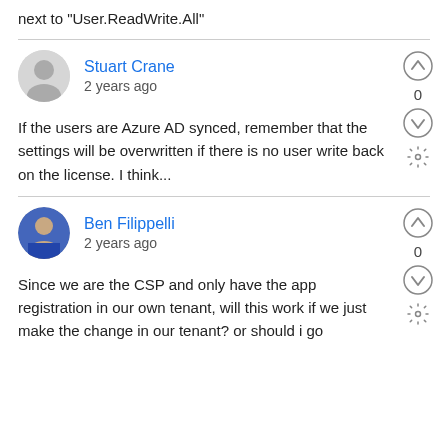next to "User.ReadWrite.All"
Stuart Crane
2 years ago
If the users are Azure AD synced, remember that the settings will be overwritten if there is no user write back on the license. I think...
Ben Filippelli
2 years ago
Since we are the CSP and only have the app registration in our own tenant, will this work if we just make the change in our tenant? or should i go